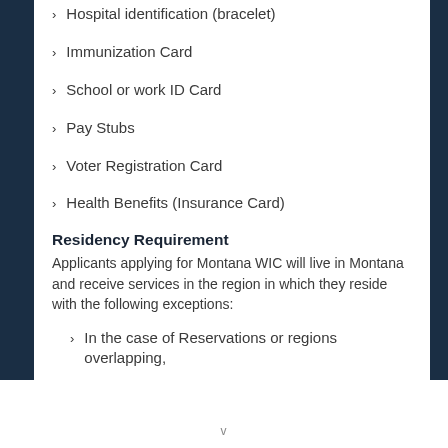Hospital identification (bracelet)
Immunization Card
School or work ID Card
Pay Stubs
Voter Registration Card
Health Benefits (Insurance Card)
Residency Requirement
Applicants applying for Montana WIC will live in Montana and receive services in the region in which they reside with the following exceptions:
In the case of Reservations or regions overlapping,
v